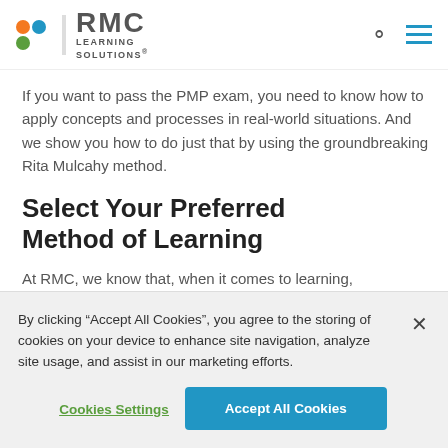RMC Learning Solutions
If you want to pass the PMP exam, you need to know how to apply concepts and processes in real-world situations. And we show you how to do just that by using the groundbreaking Rita Mulcahy method.
Select Your Preferred Method of Learning
At RMC, we know that, when it comes to learning,
By clicking “Accept All Cookies”, you agree to the storing of cookies on your device to enhance site navigation, analyze site usage, and assist in our marketing efforts.
Cookies Settings | Accept All Cookies